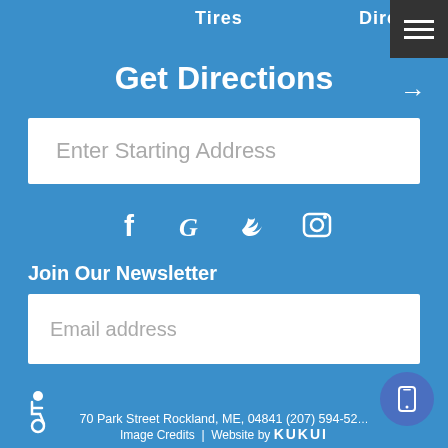Tires   Directions
Get Directions
Enter Starting Address
[Figure (other): Social media icons: Facebook (f), Google (G), Twitter bird, Instagram camera]
Join Our Newsletter
Email address
Subscribe
70 Park Street Rockland, ME, 04841 (207) 594-52…  Image Credits | Website by KUKUI